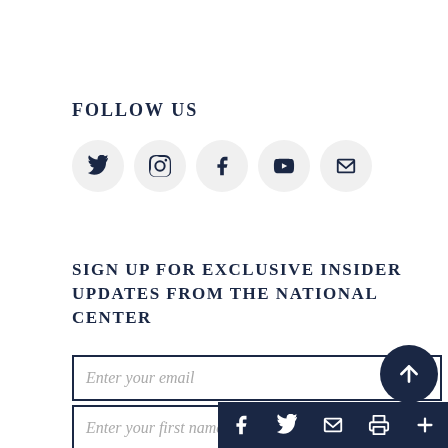FOLLOW US
[Figure (infographic): Five social media icon circles: Twitter, Instagram, Facebook, YouTube, Email]
SIGN UP FOR EXCLUSIVE INSIDER UPDATES FROM THE NATIONAL CENTER
Enter your email
Enter your first name
[Figure (infographic): Share/social bottom bar icons: Facebook, Twitter, Email, Print, Plus; and a scroll-up button]